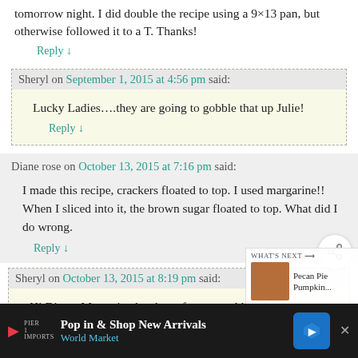tomorrow night. I did double the recipe using a 9×13 pan, but otherwise followed it to a T. Thanks!
Reply ↓
Sheryl on September 1, 2015 at 4:56 pm said:
Lucky Ladies….they are going to gobble that up Julie!
Reply ↓
Diane rose on October 13, 2015 at 7:16 pm said:
I made this recipe, crackers floated to top. I used margarine!! When I sliced into it, the brown sugar floated to top. What did I do wrong.
Reply ↓
Sheryl on October 13, 2015 at 8:19 pm said:
Hi Diane, Margarine has lots of water and less fat then
WHAT'S NEXT → Pecan Pie Pumpkin...
Pop in & Shop New Arrivals World Market